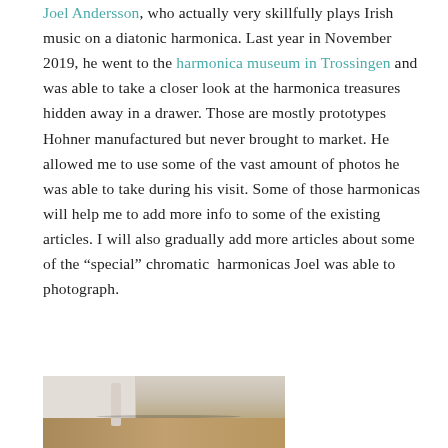Joel Andersson, who actually very skillfully plays Irish music on a diatonic harmonica. Last year in November 2019, he went to the harmonica museum in Trossingen and was able to take a closer look at the harmonica treasures hidden away in a drawer. Those are mostly prototypes Hohner manufactured but never brought to market. He allowed me to use some of the vast amount of photos he was able to take during his visit. Some of those harmonicas will help me to add more info to some of the existing articles. I will also gradually add more articles about some of the "special" chromatic  harmonicas Joel was able to photograph.
[Figure (photo): Partial view of a room with light-colored wall on the left and wooden floor, showing the bottom of a white cylindrical object near a woven/wooden surface]